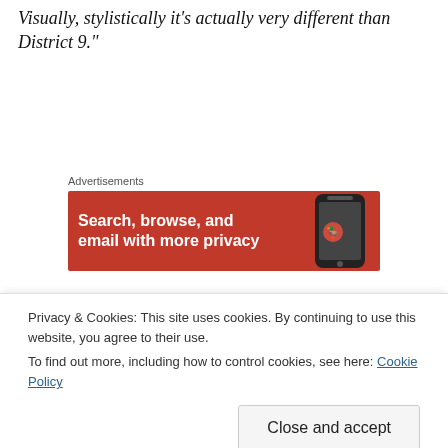Visually, stylistically it's actually very different than District 9."
[Figure (other): Advertisement banner with orange background showing 'Search, browse, and email with more privacy' text and a smartphone image]
Hmmm, what does he mean it's not necessarily an alien movie?? I wonder if he meant that it's
Privacy & Cookies: This site uses cookies. By continuing to use this website, you agree to their use.
To find out more, including how to control cookies, see here: Cookie Policy
[Close and accept]